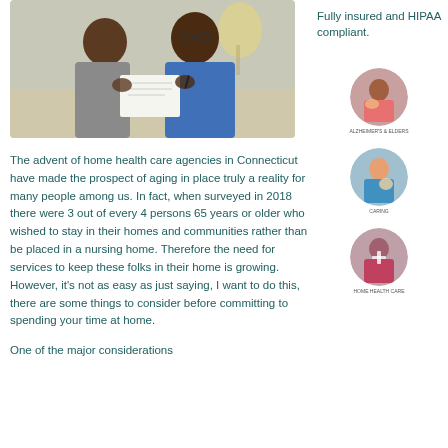[Figure (photo): Two people, an older man and a younger woman wearing glasses and a blue hoodie, looking at a document together at a table.]
The advent of home health care agencies in Connecticut have made the prospect of aging in place truly a reality for many people among us. In fact, when surveyed in 2018 there were 3 out of every 4 persons 65 years or older who wished to stay in their homes and communities rather than be placed in a nursing home. Therefore the need for services to keep these folks in their home is growing. However, it's not as easy as just saying, I want to do this, there are some things to consider before committing to spending your time at home.
One of the major considerations
Fully insured and HIPAA compliant.
[Figure (photo): Circular photo of a caregiver helping an elderly person.]
[Figure (photo): Circular photo of a caregiver with a patient.]
[Figure (photo): Circular photo of a medical professional with a patient.]